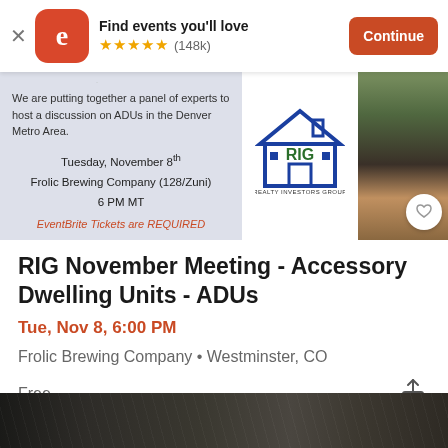[Figure (screenshot): Eventbrite app install banner with orange logo, star rating, 'Find events you'll love' text, and Continue button]
[Figure (photo): RIG November Meeting event banner showing houses illustration, RIG Realty Investors Group logo, and outdoor ADU building photo]
RIG November Meeting - Accessory Dwelling Units - ADUs
Tue, Nov 8, 6:00 PM
Frolic Brewing Company • Westminster, CO
Free
[Figure (photo): Bottom strip showing a dark interior architectural photo]